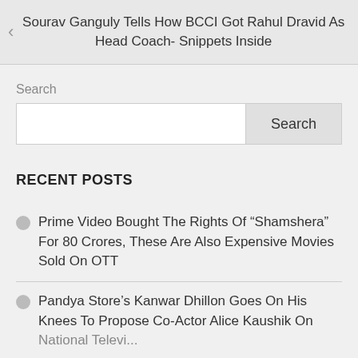Sourav Ganguly Tells How BCCI Got Rahul Dravid As Head Coach- Snippets Inside
Search
RECENT POSTS
Prime Video Bought The Rights Of “Shamshera” For 80 Crores, These Are Also Expensive Movies Sold On OTT
Pandya Store’s Kanwar Dhillon Goes On His Knees To Propose Co-Actor Alice Kaushik On National Television